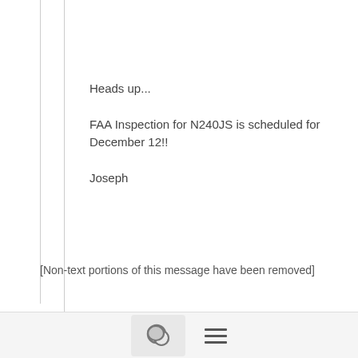Heads up...
FAA Inspection for N240JS is scheduled for December 12!!
Joseph
[Non-text portions of this message have been removed]